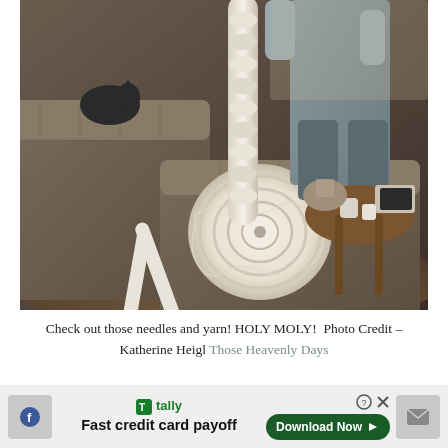[Figure (photo): A person holding a large rope of chunky white yarn extending upward, with a massive ball of cream/white chunky yarn sitting on a grey plaid armchair. Large white knitting needles are also visible in the chair. A cat rests on another armchair in the background. A wooden side table with cups and a tablet is visible to the right. Indoor living room setting.]
Check out those needles and yarn! HOLY MOLY!  Photo Credit – Katherine Heigl Those Heavenly Days
[Figure (infographic): Advertisement banner for Tally app. Shows Tally logo and brand name in green, tagline 'Fast credit card payoff', a green 'Download Now' button with arrow, a help/info circle icon and an X close button. Social media share icons on left and right sides.]